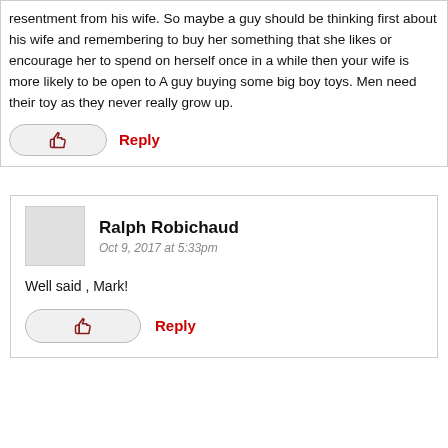resentment from his wife. So maybe a guy should be thinking first about his wife and remembering to buy her something that she likes or encourage her to spend on herself once in a while then your wife is more likely to be open to A guy buying some big boy toys. Men need their toy as they never really grow up.
Reply
Ralph Robichaud
Oct 9, 2017 at 5:33pm
Well said , Mark!
Reply